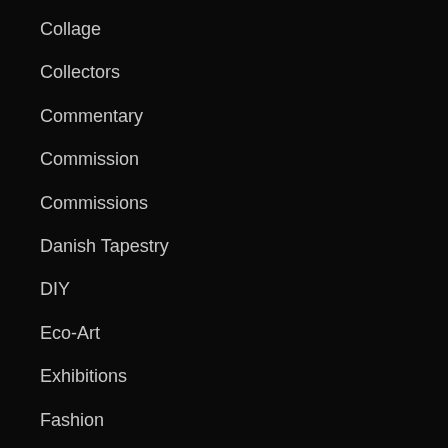Collage
Collectors
Commentary
Commission
Commissions
Danish Tapestry
DIY
Eco-Art
Exhibitions
Fashion
Fiber Future
Fiber Sculpture
Film